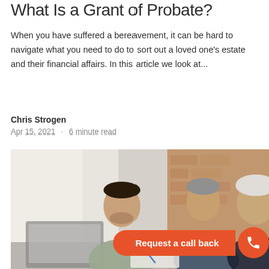What Is a Grant of Probate?
When you have suffered a bereavement, it can be hard to navigate what you need to do to sort out a loved one's estate and their financial affairs. In this article we look at...
Chris Strogen
Apr 15, 2021  ·  6 minute read
[Figure (photo): Three people in a meeting — a younger man in a blazer and two older adults — looking at documents and a laptop on a table, with a brick wall background. An orange 'Request a call back' button overlay is visible at the bottom right.]